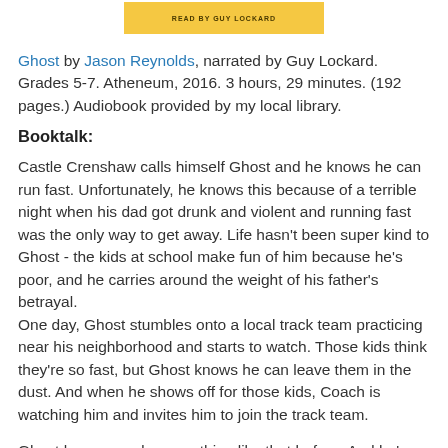[Figure (other): Yellow banner with text 'READ BY GUY LOCKARD' in uppercase letters]
Ghost by Jason Reynolds, narrated by Guy Lockard. Grades 5-7. Atheneum, 2016. 3 hours, 29 minutes. (192 pages.) Audiobook provided by my local library.
Booktalk:
Castle Crenshaw calls himself Ghost and he knows he can run fast. Unfortunately, he knows this because of a terrible night when his dad got drunk and violent and running fast was the only way to get away. Life hasn't been super kind to Ghost - the kids at school make fun of him because he's poor, and he carries around the weight of his father's betrayal.
One day, Ghost stumbles onto a local track team practicing near his neighborhood and starts to watch. Those kids think they're so fast, but Ghost knows he can leave them in the dust. And when he shows off for those kids, Coach is watching him and invites him to join the track team.
Ghost has never done anything like that before. And he's never had a strong guy in his life to show him the ropes.